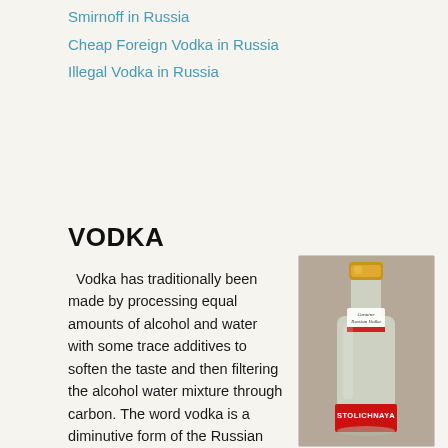Smirnoff in Russia
Cheap Foreign Vodka in Russia
Illegal Vodka in Russia
VODKA
Vodka has traditionally been made by processing equal amounts of alcohol and water with some trace additives to soften the taste and then filtering the alcohol water mixture through carbon. The word vodka is a diminutive form of the Russian word for water. It was coined in the late 19th century by the famous Russian chemist Dmitri Ivanovich Mendeleev, who formulated the Periodic Law,
[Figure (photo): A bottle of Stolichnaya vodka with a gold cap, showing the red and white Stolichnaya label at the bottom and a 'Genuine Russian Vodka' label on the neck.]